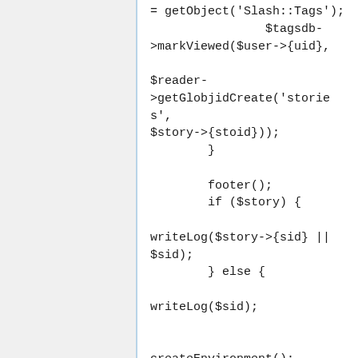= getObject('Slash::Tags');
                $tagsdb->markViewed($user->{uid},

$reader->getGlobjidCreate('stories', $story->{stoid}));
        }

        footer();
        if ($story) {

writeLog($story->{sid} || $sid);
        } else {

writeLog($sid);


createEnvironment();
main();
1;

(EOF)